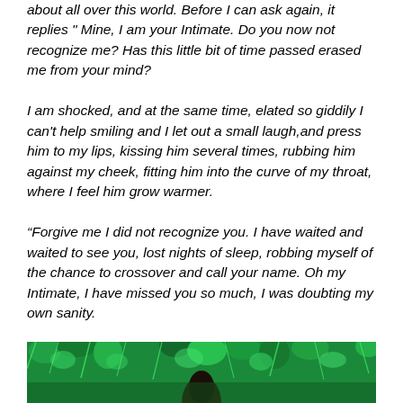about all over this world. Before I can ask again, it replies " Mine, I am your Intimate. Do you now not recognize me? Has this little bit of time passed erased me from your mind?
I am shocked, and at the same time, elated so giddily I can't help smiling and I let out a small laugh,and press him to my lips, kissing him several times, rubbing him against my cheek, fitting him into the curve of my throat, where I feel him grow warmer.
“Forgive me I did not recognize you. I have waited and waited to see you, lost nights of sleep, robbing myself of the chance to crossover and call your name. Oh my Intimate, I have missed you so much, I was doubting my own sanity.
[Figure (photo): Bottom portion of an image showing green fluffy/furry texture with what appears to be a dark figure or object emerging from it.]